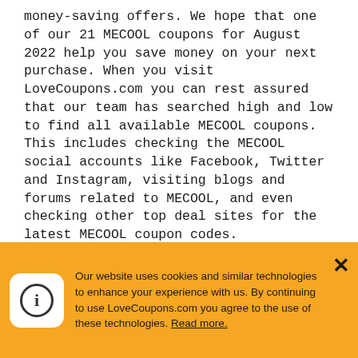money-saving offers. We hope that one of our 21 MECOOL coupons for August 2022 help you save money on your next purchase. When you visit LoveCoupons.com you can rest assured that our team has searched high and low to find all available MECOOL coupons. This includes checking the MECOOL social accounts like Facebook, Twitter and Instagram, visiting blogs and forums related to MECOOL, and even checking other top deal sites for the latest MECOOL coupon codes.
When shopping online for MECOOL, it is a good idea to always visit us here at LoveCoupons.com before you finish your order. The Love Coupons team save our members...
Our website uses cookies and similar technologies to enhance your experience with us. By continuing to use LoveCoupons.com you agree to the use of these technologies. Read more.